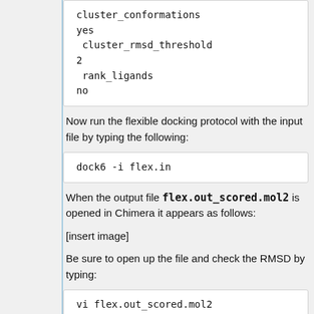cluster_conformations
yes
 cluster_rmsd_threshold
2
 rank_ligands
no
Now run the flexible docking protocol with the input file by typing the following:
dock6 -i flex.in
When the output file flex.out_scored.mol2 is opened in Chimera it appears as follows:
[insert image]
Be sure to open up the file and check the RMSD by typing:
vi flex.out_scored.mol2